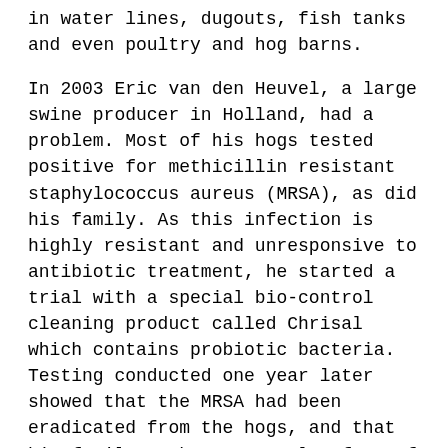in water lines, dugouts, fish tanks and even poultry and hog barns.
In 2003 Eric van den Heuvel, a large swine producer in Holland, had a problem. Most of his hogs tested positive for methicillin resistant staphylococcus aureus (MRSA), as did his family. As this infection is highly resistant and unresponsive to antibiotic treatment, he started a trial with a special bio-control cleaning product called Chrisal which contains probiotic bacteria. Testing conducted one year later showed that the MRSA had been eradicated from the hogs, and that his family members were also free of the infection. In addition, he had reduced the use of antibiotics in his hog operation by 95%. A graph of the decline in antibiotic use is presented as Fig. 2.
Chrisal has a wide range of agricultural applications for